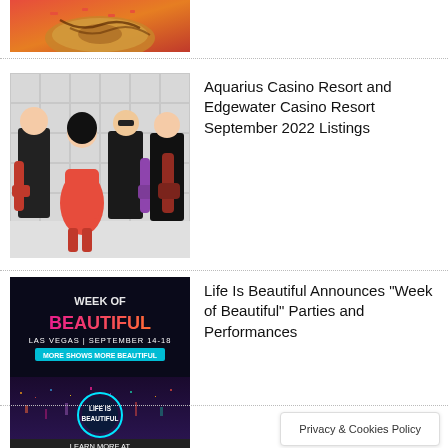[Figure (photo): Partial top image showing food items (donut/pastry) on red background, cropped at top]
[Figure (photo): Photo of a band with four musicians dressed in black and red, holding guitars, against grey background]
Aquarius Casino Resort and Edgewater Casino Resort September 2022 Listings
[Figure (photo): Life Is Beautiful festival promotional image with text WEEK OF BEAUTIFUL, LAS VEGAS SEPTEMBER 14-18, MORE SHOWS MORE BEAUTIFUL, LIFE IS BEAUTIFUL, LEARN MORE AT, aerial night view of Las Vegas strip]
Life Is Beautiful Announces “Week of Beautiful” Parties and Performances
Privacy & Cookies Policy